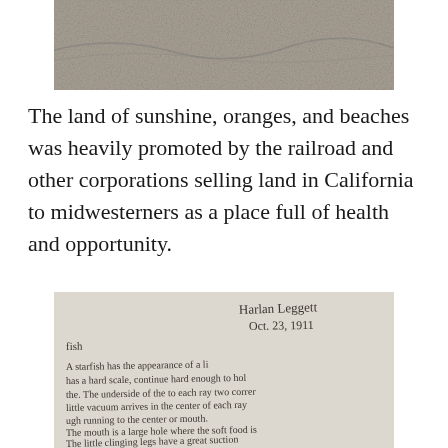[Figure (photo): Black and white photograph showing a textured landscape, possibly a beach or rocky terrain, cropped at top.]
The land of sunshine, oranges, and beaches was heavily promoted by the railroad and other corporations selling land in California to midwesterners as a place full of health and opportunity.
[Figure (photo): Black and white photograph of a handwritten letter or school paper. Text reads: 'Harlan Leggett, Oct. 23, 1911. fish. A starfish has the appearance of a [star], has a hard scale, continue hard enough to hold [?]. The underside of the [?] to each ray two [?] little vacuum arrives in the center of each ray [?] ugh running to the center or mouth. The mouth is a large hole where the soft food [?] [?]ed. The little clinging legs have a great suction']